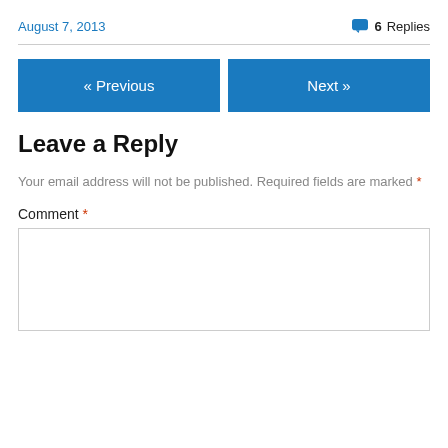August 7, 2013
6 Replies
« Previous
Next »
Leave a Reply
Your email address will not be published. Required fields are marked *
Comment *